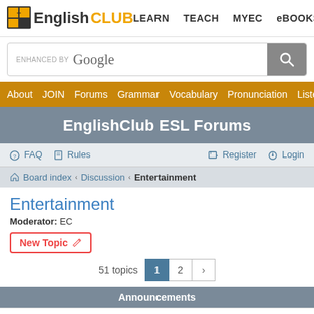EnglishCLUB — LEARN  TEACH  MYEC  eBOOKS
[Figure (screenshot): Google search bar with 'enhanced by Google' text]
About  JOIN  Forums  Grammar  Vocabulary  Pronunciation  Listening
EnglishClub ESL Forums
FAQ  Rules  Register  Login
Board index › Discussion › Entertainment
Entertainment
Moderator: EC
New Topic
51 topics  1  2  ›
Announcements
Hi friends
Last post by Krisi « Sat Jan 02, 2016 7:52 am